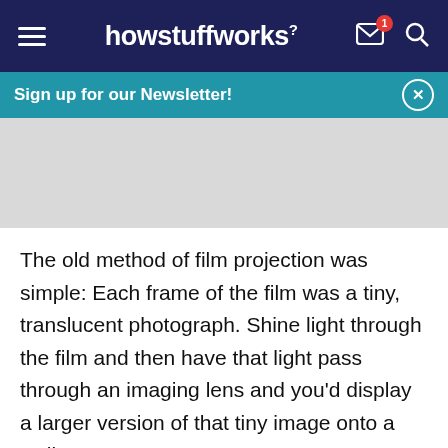howstuffworks
Sign up for our Newsletter!
[Figure (other): Gray advertisement placeholder image area]
The old method of film projection was simple: Each frame of the film was a tiny, translucent photograph. Shine light through the film and then have that light pass through an imaging lens and you'd display a larger version of that tiny image onto a wall or screen.
Get the HowStuffWorks Newsletter! Sign Up